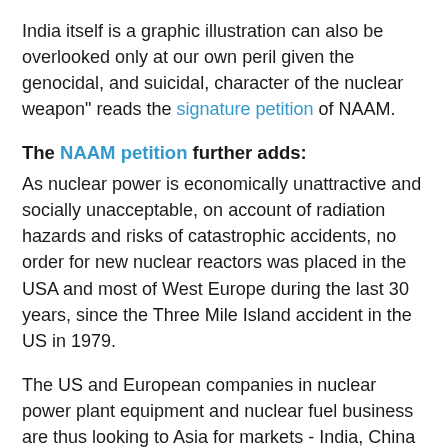India itself is a graphic illustration can also be overlooked only at our own peril given the genocidal, and suicidal, character of the nuclear weapon" reads the signature petition of NAAM.
The NAAM petition further adds:
As nuclear power is economically unattractive and socially unacceptable, on account of radiation hazards and risks of catastrophic accidents, no order for new nuclear reactors was placed in the USA and most of West Europe during the last 30 years, since the Three Mile Island accident in the US in 1979.
The US and European companies in nuclear power plant equipment and nuclear fuel business are thus looking to Asia for markets - India, China and Japan spearheading the current expansion programme.
It is unfortunate that the Indian government is becoming their willing collaborator in this in pursuit of its megalomaniac hunt for nuclear power and weapon. It has thus, over a period of just one year, rushed to enter into agreements with as many